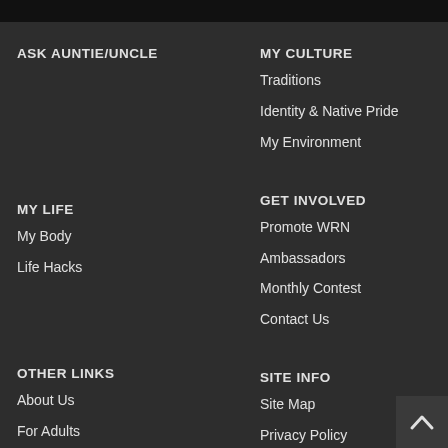ASK AUNTIE/UNCLE
MY CULTURE
Traditions
Identity & Native Pride
My Environment
MY LIFE
My Body
Life Hacks
GET INVOLVED
Promote WRN
Ambassadors
Monthly Contest
Contact Us
OTHER LINKS
About Us
For Adults
Resources
Free Condoms
Other Free Stuff
SITE INFO
Site Map
Privacy Policy
Site Credits